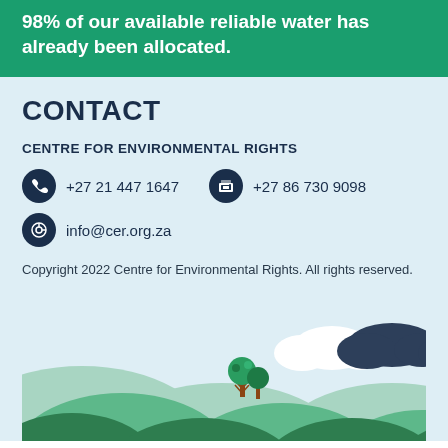98% of our available reliable water has already been allocated.
CONTACT
CENTRE FOR ENVIRONMENTAL RIGHTS
+27 21 447 1647
+27 86 730 9098
info@cer.org.za
Copyright 2022 Centre for Environmental Rights. All rights reserved.
[Figure (illustration): Nature illustration with mountains, hills, trees, and clouds on a light blue background]